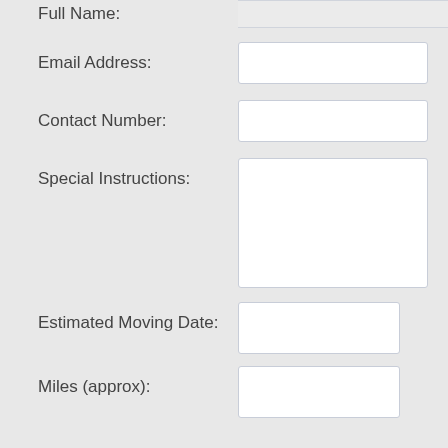Full Name:
Email Address:
Contact Number:
Special Instructions:
Estimated Moving Date:
Miles (approx):